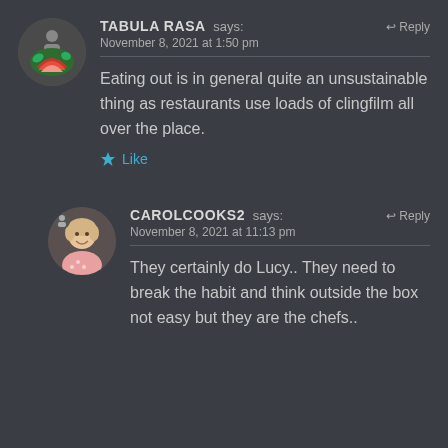TABULA RASA says: November 8, 2021 at 1:50 pm
Eating out is in general quite an unsustainable thing as restaurants use loads of clingfilm all over the place.
Like
CAROLCOOKS2 says: November 8, 2021 at 11:13 pm
They certainly do Lucy.. They need to break the habit and think outside the box not easy but they are the chefs..